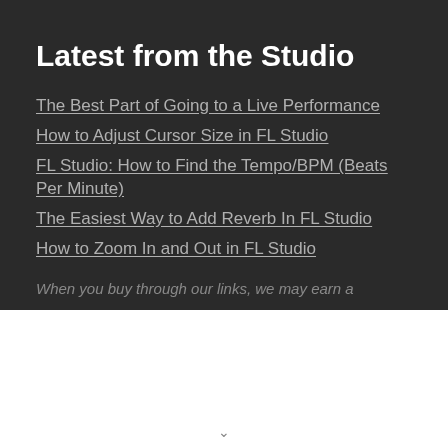Latest from the Studio
The Best Part of Going to a Live Performance
How to Adjust Cursor Size in FL Studio
FL Studio: How to Find the Tempo/BPM (Beats Per Minute)
The Easiest Way to Add Reverb In FL Studio
How to Zoom In and Out in FL Studio
When you buy through our links, we may earn a